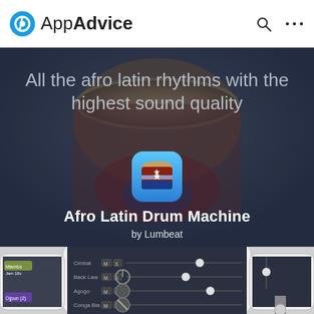AppAdvice
All the afro latin rhythms with the highest sound quality
Afro Latin Drum Machine
by Lumbeat
[Figure (screenshot): Screenshot of the Afro Latin Drum Machine app interface showing mixer controls with M and S buttons and sliders, labeled MASTER on the right. Shows channels: Cimbal, Back Law, Agogo, Conga Bla. Left side shows Mambo Jam 18x and Ojpun (2) labels.]